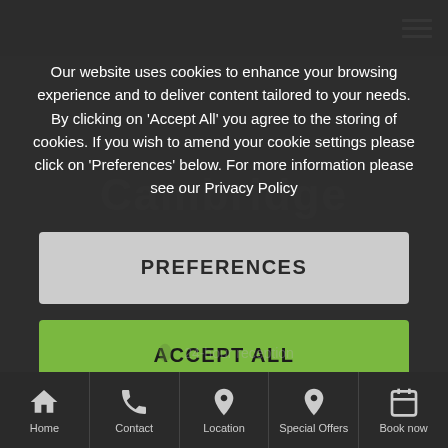Our website uses cookies to enhance your browsing experience and to deliver content tailored to your needs. By clicking on 'Accept All' you agree to the storing of cookies. If you wish to amend your cookie settings please click on 'Preferences' below. For more information please see our Privacy Policy
PREFERENCES
ACCEPT ALL
24-hour reception
24-hour car parking available nearby
Home | Contact | Location | Special Offers | Book now